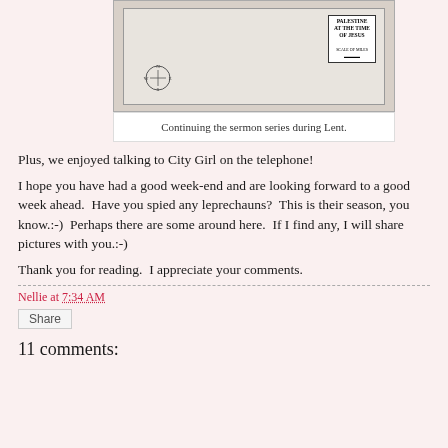[Figure (photo): A photo of a map titled 'Palestine at the Time of Jesus' with a compass rose visible, placed on a surface. The map includes a scale of miles box.]
Continuing the sermon series during Lent.
Plus, we enjoyed talking to City Girl on the telephone!
I hope you have had a good week-end and are looking forward to a good week ahead.  Have you spied any leprechauns?  This is their season, you know.:-)  Perhaps there are some around here.  If I find any, I will share pictures with you.:-)
Thank you for reading.  I appreciate your comments.
Nellie at 7:34 AM
Share
11 comments: